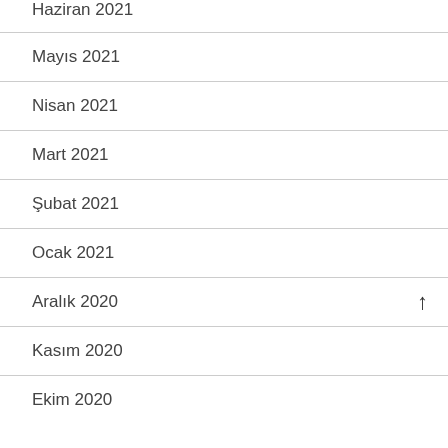Haziran 2021
Mayıs 2021
Nisan 2021
Mart 2021
Şubat 2021
Ocak 2021
Aralık 2020
Kasım 2020
Ekim 2020